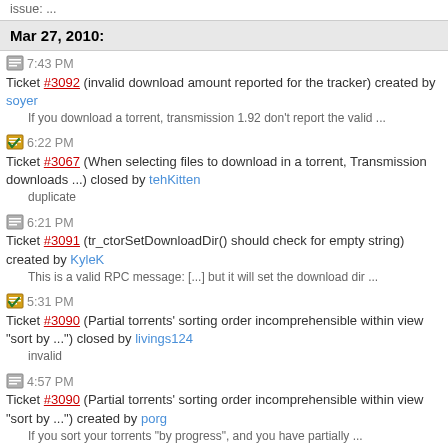issue: ...
Mar 27, 2010:
7:43 PM Ticket #3092 (invalid download amount reported for the tracker) created by soyer
If you download a torrent, transmission 1.92 don't report the valid ...
6:22 PM Ticket #3067 (When selecting files to download in a torrent, Transmission downloads ...) closed by tehKitten
duplicate
6:21 PM Ticket #3091 (tr_ctorSetDownloadDir() should check for empty string) created by KyleK
This is a valid RPC message: [...] but it will set the download dir ...
5:31 PM Ticket #3090 (Partial torrents' sorting order incomprehensible within view "sort by ...") closed by livings124
invalid
4:57 PM Ticket #3090 (Partial torrents' sorting order incomprehensible within view "sort by ...") created by porg
If you sort your torrents "by progress", and you have partially ...
4:51 PM Ticket #3089 (EditConfigFiles is lagging behind.) created by geirha
EditConfigFiles is lacking information on the 1.80+ incomplete-dir and ...
4:19 PM Ticket #3088 (Transmission 1.91 (10264) crash) created by